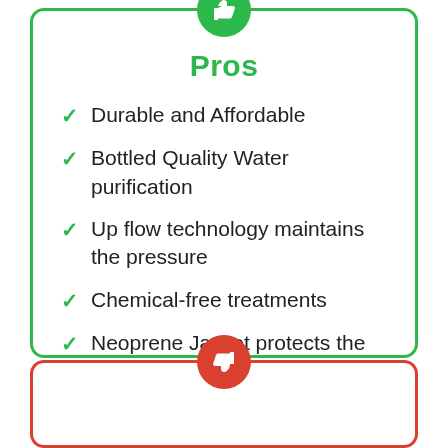Pros
Durable and Affordable
Bottled Quality Water purification
Up flow technology maintains the pressure
Chemical-free treatments
Neoprene Jacket protects the Water Filter System